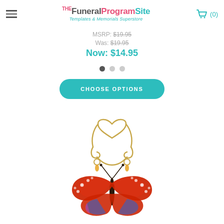The Funeral Program Site - Templates & Memorials Superstore | (0)
MSRP: $19.95
Was: $19.95
Now: $14.95
[Figure (other): Carousel navigation dots - three dots indicating image slideshow position]
[Figure (other): Choose Options button - teal rounded button with white uppercase text]
[Figure (photo): Decorative butterfly sun catcher with red and blue wings, gold wire hanger in heart shape with swirls, amber bead accents]